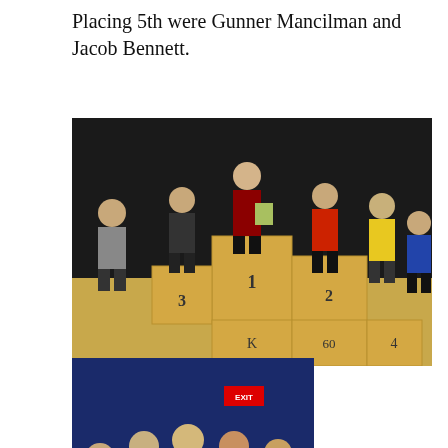Placing 5th were Gunner Mancilman and Jacob Bennett.
[Figure (photo): Children standing on a tiered podium with positions numbered 1, 2, 3, K, 4, 60. Kids wearing wrestling uniforms holding trophies and certificates in a gym with dark curtain background.]
[Figure (photo): Group of older youth wrestlers posing together indoors, some holding trophies or medals, wearing team jackets. A red EXIT sign is visible in the background.]